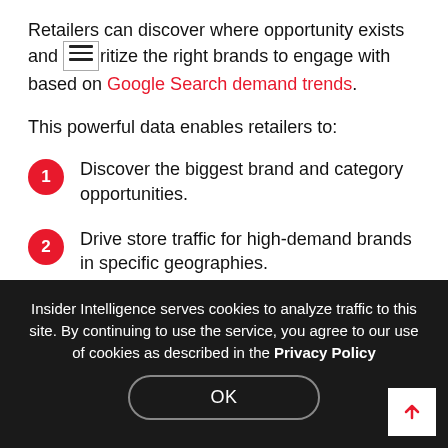Retailers can discover where opportunity exists and prioritize the right brands to engage with based on Google Search demand trends.
This powerful data enables retailers to:
1. Discover the biggest brand and category opportunities.
2. Drive store traffic for high-demand brands in specific geographies.
3. Personalize the shopping experience with rich
Insider Intelligence serves cookies to analyze traffic to this site. By continuing to use the service, you agree to our use of cookies as described in the Privacy Policy
OK